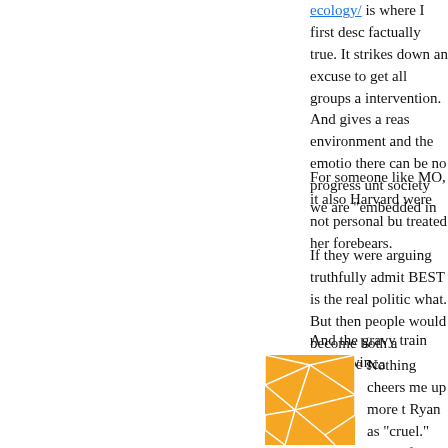ecology/ is where I first desc factually true. It strikes down an excuse to get all groups a intervention. And gives a reas environment and the emotion there can be no progress unt society we are "embedded in
For someone like MO, it also Harvard were not personal bu treated her forebears.
If they were arguing truthfully admit BEST is the real politic what. But then people would become both a lucrative sca
And the gravy train might win
[Figure (logo): Orange square logo with white geometric line pattern resembling a cracked or tessellated surface]
Nothing cheers me up more t Ryan as "cruel." Those folks a entitlements to other people's actually pay is "cruel."